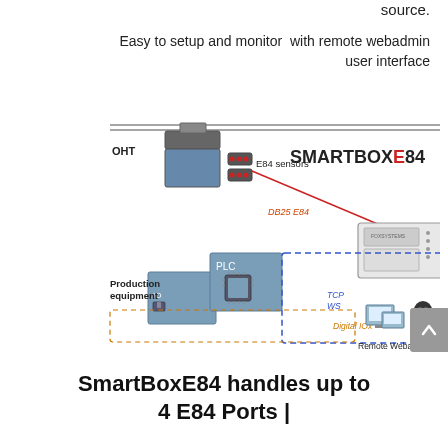source.
Easy to setup and monitor  with remote webadmin user interface
[Figure (schematic): SmartBoxE84 system diagram showing OHT connected to E84 sensors via DB25 E84 cable to a SmartBoxE84 device, which connects via TCP/WS to Remote Webadmin and via Digital IOs to Production equipment (PLC + IO block).]
SmartBoxE84 handles up to 4 E84 Ports |